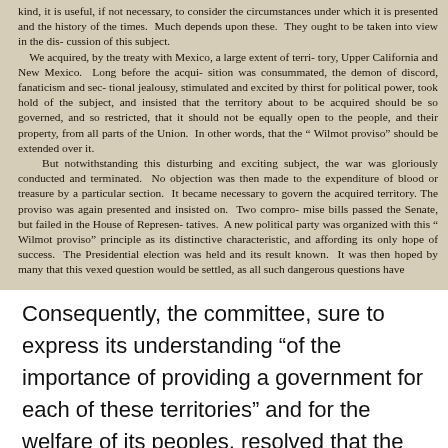kind, it is useful, if not necessary, to consider the circumstances under which it is presented and the history of the times. Much depends upon these. They ought to be taken into view in the discussion of this subject. We acquired, by the treaty with Mexico, a large extent of territory, Upper California and New Mexico. Long before the acquisition was consummated, the demon of discord, fanaticism and sectional jealousy, stimulated and excited by thirst for political power, took hold of the subject, and insisted that the territory about to be acquired should be so governed, and so restricted, that it should not be equally open to the people, and their property, from all parts of the Union. In other words, that the “ Wilmot proviso” should be extended over it. But notwithstanding this disturbing and exciting subject, the war was gloriously conducted and terminated. No objection was then made to the expenditure of blood or treasure by a particular section. It became necessary to govern the acquired territory. The proviso was again presented and insisted on. Two compromise bills passed the Senate, but failed in the House of Representatives. A new political party was organized with this “ Wilmot proviso” principle as its distinctive characteristic, and affording its only hope of success. The Presidential election was held and its result known. It was then hoped by many that this vexed question would be settled, as all such dangerous questions have
Consequently, the committee, sure to express its understanding “of the importance of providing a government for each of these territories” and for the welfare of its peoples, resolved that the bill should not